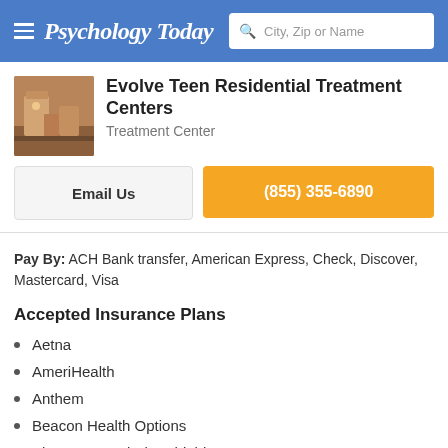Psychology Today — City, Zip or Name search bar
Evolve Teen Residential Treatment Centers
Treatment Center
Email Us
(855) 355-6890
Pay By: ACH Bank transfer, American Express, Check, Discover, Mastercard, Visa
Accepted Insurance Plans
Aetna
AmeriHealth
Anthem
Beacon Health Options
BlueCross and BlueShield
ChoiceCare Network
Cigna and Evernorth
Coventry